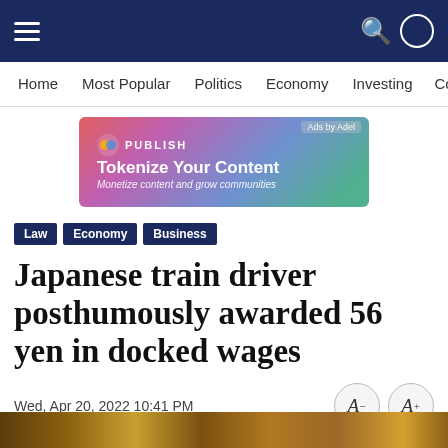Navigation bar with hamburger menu, search and user icons
Home  Most Popular  Politics  Economy  Investing  Comp...
[Figure (infographic): Advertisement banner: PUBLISH - Tokenize Your Content - Monetize content and grow communities. Ads by Adel.]
Law
Economy
Business
Japanese train driver posthumously awarded 56 yen in docked wages
Wed, Apr 20, 2022 10:41 PM
[Figure (other): Back navigation button with return arrow icon]
[Figure (photo): Bottom image strip showing a scene, partially visible]